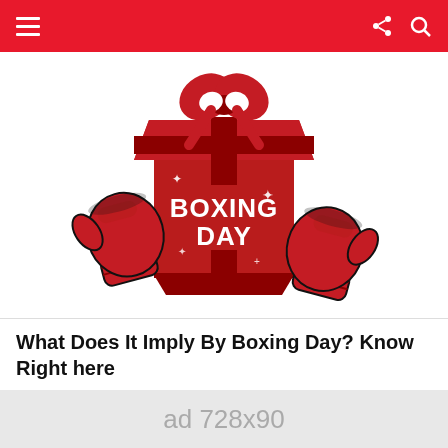Navigation bar with hamburger menu, share and search icons
[Figure (illustration): Boxing Day graphic with a red gift box, heart-shaped ribbon bow on top, and two boxing gloves on either side. Text 'BOXING DAY' in white on the box. Decorative sparkles around.]
What Does It Imply By Boxing Day? Know Right here
by VK Team
5 months ago
[Figure (photo): Partially visible photo strip at the bottom of the article area]
× close
ad 728x90